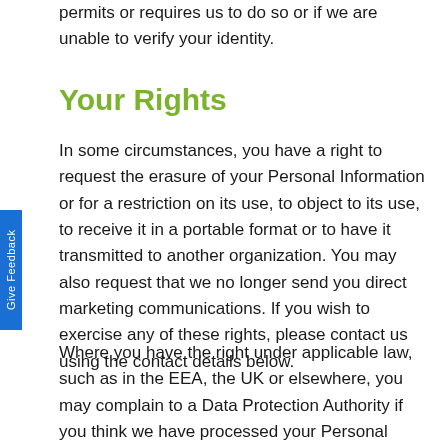permits or requires us to do so or if we are unable to verify your identity.
Your Rights
In some circumstances, you have a right to request the erasure of your Personal Information or for a restriction on its use, to object to its use, to receive it in a portable format or to have it transmitted to another organization. You may also request that we no longer send you direct marketing communications. If you wish to exercise any of these rights, please contact us using the contact details below.
Where you have the right under applicable law, such as in the EEA, the UK or elsewhere, you may complain to a Data Protection Authority if you think we have processed your Personal Information in a manner which is unlawful or breaches your rights.